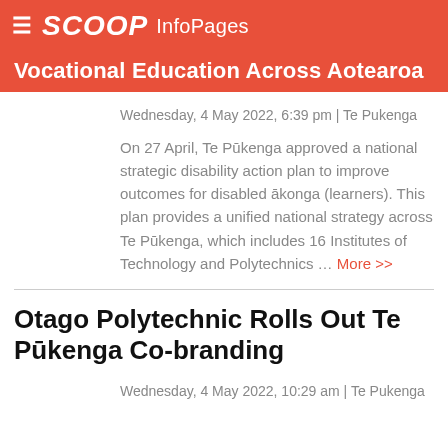SCOOP InfoPages
Vocational Education Across Aotearoa
Wednesday, 4 May 2022, 6:39 pm | Te Pukenga
On 27 April, Te Pūkenga approved a national strategic disability action plan to improve outcomes for disabled ākonga (learners). This plan provides a unified national strategy across Te Pūkenga, which includes 16 Institutes of Technology and Polytechnics … More >>
Otago Polytechnic Rolls Out Te Pūkenga Co-branding
Wednesday, 4 May 2022, 10:29 am | Te Pukenga